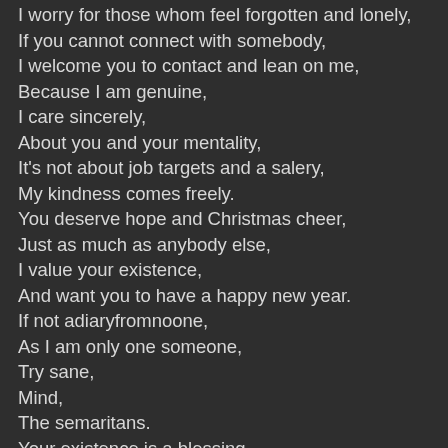I worry for those whom feel forgotten and lonely,
If you cannot connect with somebody,
I welcome you to contact and lean on me,
Because I am genuine,
I care sincerely,
About you and your mentality,
It's not about job targets and a salery,
My kindness comes freely.
You deserve hope and Christmas cheer,
Just as much as anybody else,
I value your existence,
And want you to have a happy new year.
If not adiaryfromnoone,
As I am only one someone,
Try sane,
Mind,
The semaritans.
Your existence is a blessing,
Somebody confidently shares with…